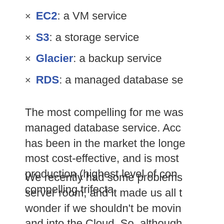EC2: a VM service
S3: a storage service
Glacier: a backup service
RDS: a managed database se…
The most compelling for me was… managed database service. Acco… has been in the market the longe… most cost-effective, and is most… production (highest level of con… compelling trifecta.
We recently had some problems… server room, and it made us all t… wonder if we shouldn't be movin… and into the Cloud. So, although…